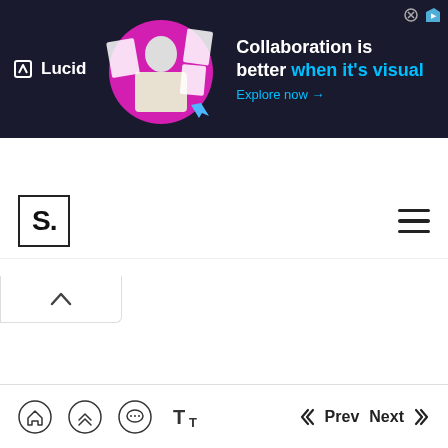[Figure (screenshot): Lucid advertisement banner: dark navy background with Lucid logo on left, illustrated image of person in center, and text 'Collaboration is better when it's visual' with 'Explore now →' link on right. Close/ad info icons in top-right corner.]
[Figure (screenshot): Scribd web interface showing: a collapse arrow tab below the ad, the Scribd 'S.' logo in a box on the left of the navbar, a hamburger menu icon on the right, and a bottom navigation bar with home, scroll-up, comment, text-size icons on the left and Prev/Next pagination buttons on the right.]